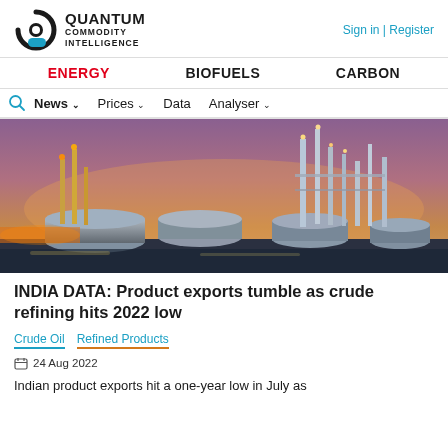QUANTUM COMMODITY INTELLIGENCE | Sign in | Register
ENERGY  BIOFUELS  CARBON
News  Prices  Data  Analyser
[Figure (photo): Oil refinery at dusk with storage tanks in foreground and illuminated refinery towers in background against a twilight sky]
INDIA DATA: Product exports tumble as crude refining hits 2022 low
Crude Oil  Refined Products
24 Aug 2022
Indian product exports hit a one-year low in July as